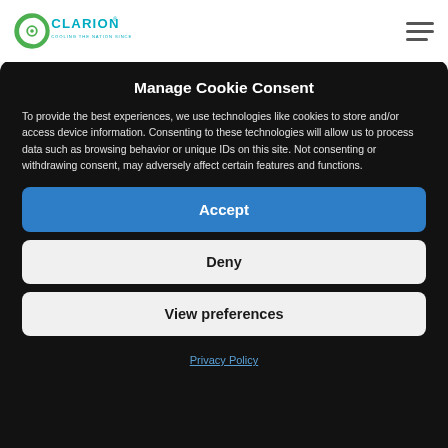[Figure (logo): Clarion logo — green circular C icon with a dot inside, teal text 'CLARION' with registered trademark symbol, tagline 'COOLING THE NATION SINCE 1962']
Manage Cookie Consent
To provide the best experiences, we use technologies like cookies to store and/or access device information. Consenting to these technologies will allow us to process data such as browsing behavior or unique IDs on this site. Not consenting or withdrawing consent, may adversely affect certain features and functions.
Accept
Deny
View preferences
Privacy Policy